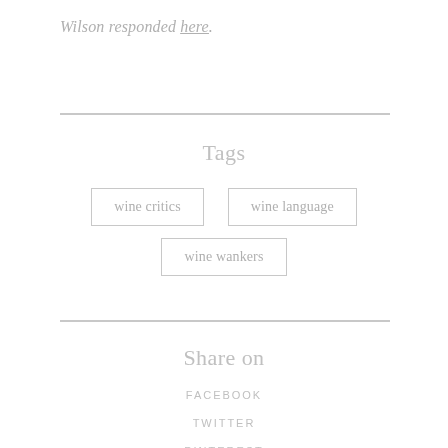Wilson responded here.
Tags
wine critics
wine language
wine wankers
Share on
FACEBOOK
TWITTER
PINTEREST